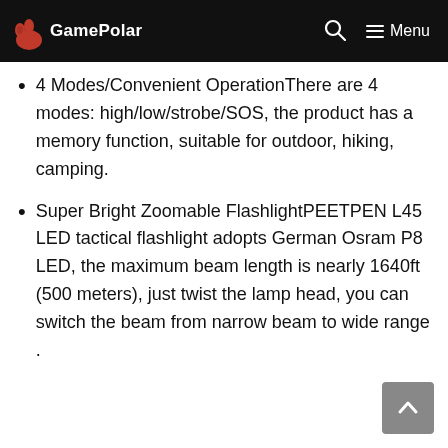GamePolar — Menu
4 Modes/Convenient OperationThere are 4 modes: high/low/strobe/SOS, the product has a memory function, suitable for outdoor, hiking, camping.
Super Bright Zoomable FlashlightPEETPEN L45 LED tactical flashlight adopts German Osram P8 LED, the maximum beam length is nearly 1640ft (500 meters), just twist the lamp head, you can switch the beam from narrow beam to wide range .